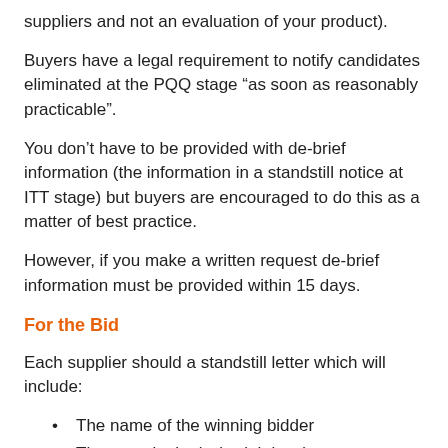suppliers and not an evaluation of your product).
Buyers have a legal requirement to notify candidates eliminated at the PQQ stage “as soon as reasonably practicable”.
You don’t have to be provided with de-brief information (the information in a standstill notice at ITT stage) but buyers are encouraged to do this as a matter of best practice.
However, if you make a written request de-brief information must be provided within 15 days.
For the Bid
Each supplier should a standstill letter which will include:
The name of the winning bidder
The award criteria (weightings)
Your scores
The characteristics and advantages of the successful